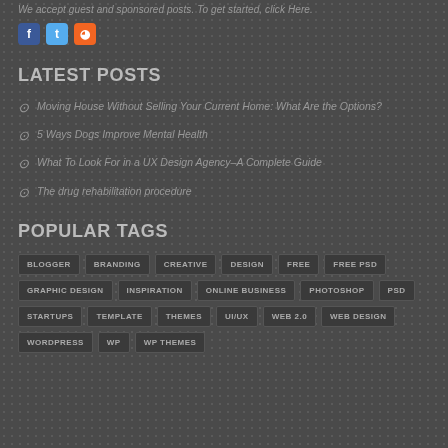We accept guest and sponsored posts. To get started, click Here.
[Figure (other): Social media icons: Facebook, Twitter, RSS]
LATEST POSTS
Moving House Without Selling Your Current Home: What Are the Options?
5 Ways Dogs Improve Mental Health
What To Look For in a UX Design Agency–A Complete Guide
The drug rehabilitation procedure
POPULAR TAGS
BLOGGER
BRANDING
CREATIVE
DESIGN
FREE
FREE PSD
GRAPHIC DESIGN
INSPIRATION
ONLINE BUSINESS
PHOTOSHOP
PSD
STARTUPS
TEMPLATE
THEMES
UI/UX
WEB 2.0
WEB DESIGN
WORDPRESS
WP
WP THEMES